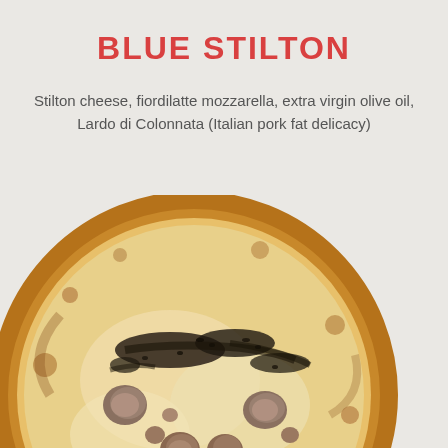BLUE STILTON
Stilton cheese, fiordilatte mozzarella, extra virgin olive oil, Lardo di Colonnata (Italian pork fat delicacy)
[Figure (photo): A round pizza with golden-brown crust, topped with melted white cheese (fiordilatte mozzarella), chunks of Stilton cheese, dark herbs, and pieces of Lardo di Colonnata, photographed from above on a light grey background.]